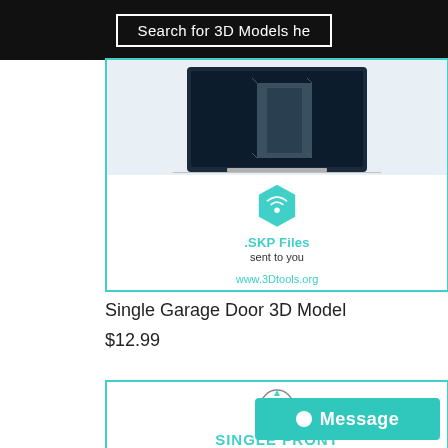Search for 3D Models he
[Figure (screenshot): Product card showing a laptop with 3D model rendering, SKP Files logo and icon, text '.SKP Files sent to you', and website URL www.3Dtools.org]
Single Garage Door 3D Model
$12.99
[Figure (screenshot): Second product card showing 3D Tools circular logo and text 'SINGLE FRONT 3D MODEL' in teal, with a Message button overlay in teal]